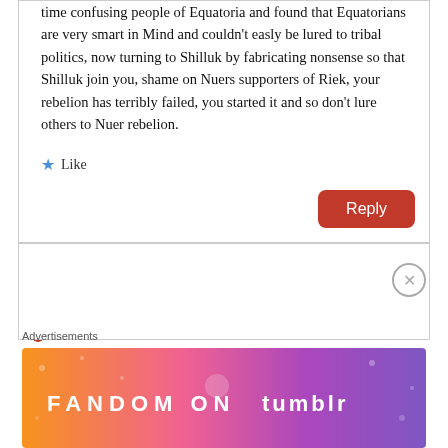time confusing people of Equatoria and found that Equatorians are very smart in Mind and couldn't easly be lured to tribal politics, now turning to Shilluk by fabricating nonsense so that Shilluk join you, shame on Nuers supporters of Riek, your rebelion has terribly failed, you started it and so don't lure others to Nuer rebelion.
★ Like
Reply
lualmagok
Advertisements
[Figure (illustration): Fandom on Tumblr advertisement banner with colorful gradient background (orange to purple) and white text]